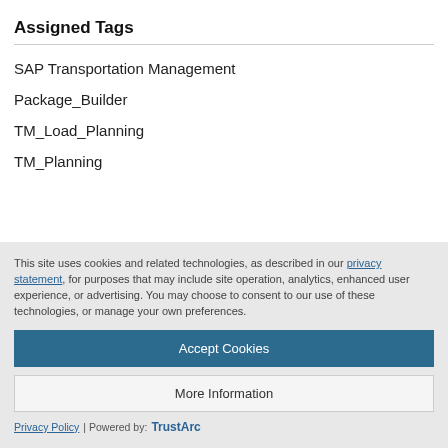Assigned Tags
SAP Transportation Management
Package_Builder
TM_Load_Planning
TM_Planning
This site uses cookies and related technologies, as described in our privacy statement, for purposes that may include site operation, analytics, enhanced user experience, or advertising. You may choose to consent to our use of these technologies, or manage your own preferences.
Accept Cookies
More Information
Privacy Policy | Powered by: TrustArc